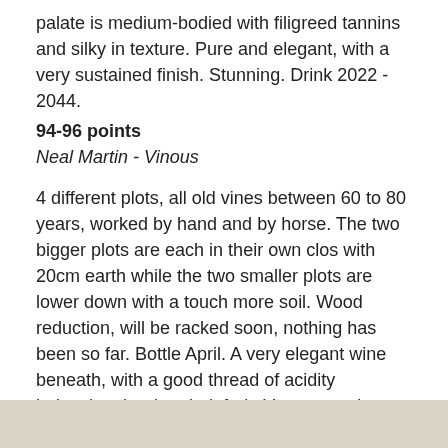palate is medium-bodied with filigreed tannins and silky in texture. Pure and elegant, with a very sustained finish. Stunning. Drink 2022 - 2044.
94-96 points
Neal Martin - Vinous
4 different plots, all old vines between 60 to 80 years, worked by hand and by horse. The two bigger plots are each in their own clos with 20cm earth while the two smaller plots are lower down with a touch more soil. Wood reduction, will be racked soon, nothing has been so far. Bottle April. A very elegant wine beneath, with a good thread of acidity balancing the ripe dark fruit. Very extensive finish. Lovely.
93-96 points
Jasper Morris - Inside Burgundy